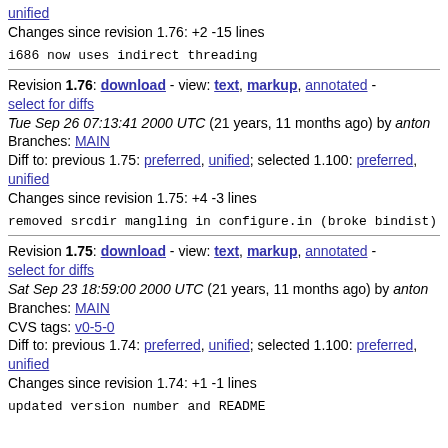unified
Changes since revision 1.76: +2 -15 lines
i686 now uses indirect threading
Revision 1.76: download - view: text, markup, annotated - select for diffs
Tue Sep 26 07:13:41 2000 UTC (21 years, 11 months ago) by anton
Branches: MAIN
Diff to: previous 1.75: preferred, unified; selected 1.100: preferred, unified
Changes since revision 1.75: +4 -3 lines
removed srcdir mangling in configure.in (broke bindist)
Revision 1.75: download - view: text, markup, annotated - select for diffs
Sat Sep 23 18:59:00 2000 UTC (21 years, 11 months ago) by anton
Branches: MAIN
CVS tags: v0-5-0
Diff to: previous 1.74: preferred, unified; selected 1.100: preferred, unified
Changes since revision 1.74: +1 -1 lines
updated version number and README